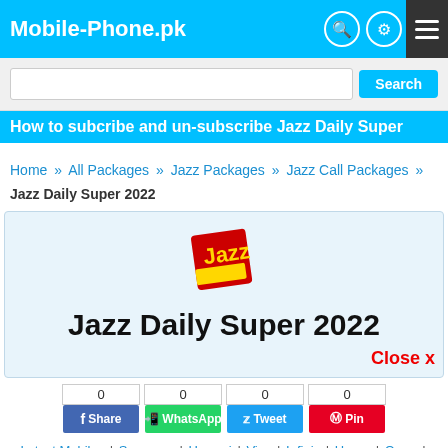Mobile-Phone.pk
Search
How to subcribe and un-subscribe Jazz Daily Super
Home » All Packages » Jazz Packages » Jazz Call Packages » Jazz Daily Super 2022
[Figure (logo): Jazz logo - red and yellow square logo with 'Jazz' text]
Jazz Daily Super 2022
Close x
0 Share | 0 WhatsApp | 0 Tweet | 0 Pin
Latest Mobiles | Samsung | Huawei | Vivo | Infinix | Honor | Oppo | Realme | Tecno